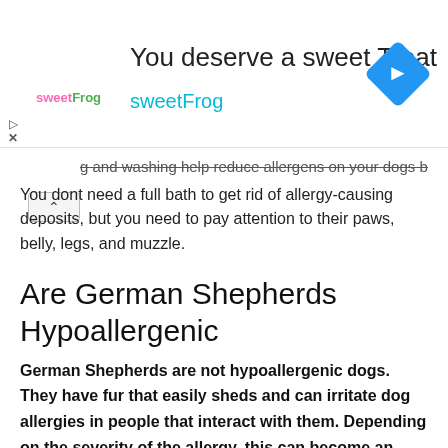[Figure (screenshot): Advertisement banner for sweetFrog frozen yogurt. Shows logo, headline 'You deserve a sweet Treat', brand name 'sweetFrog' in teal, and a blue diamond navigation icon on the right.]
g and washing help reduce allergens on your dogs body.
You dont need a full bath to get rid of allergy-causing deposits, but you need to pay attention to their paws, belly, legs, and muzzle.
Are German Shepherds Hypoallergenic
German Shepherds are not hypoallergenic dogs. They have fur that easily sheds and can irritate dog allergies in people that interact with them. Depending on the severity of the allergy, this can become an issue for some families, but not for all.